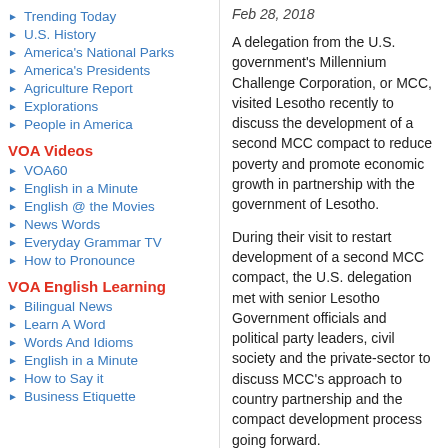Trending Today
U.S. History
America's National Parks
America's Presidents
Agriculture Report
Explorations
People in America
VOA Videos
VOA60
English in a Minute
English @ the Movies
News Words
Everyday Grammar TV
How to Pronounce
VOA English Learning
Bilingual News
Learn A Word
Words And Idioms
English in a Minute
How to Say it
Business Etiquette
Feb 28, 2018
A delegation from the U.S. government's Millennium Challenge Corporation, or MCC, visited Lesotho recently to discuss the development of a second MCC compact to reduce poverty and promote economic growth in partnership with the government of Lesotho.
During their visit to restart development of a second MCC compact, the U.S. delegation met with senior Lesotho Government officials and political party leaders, civil society and the private-sector to discuss MCC's approach to country partnership and the compact development process going forward.